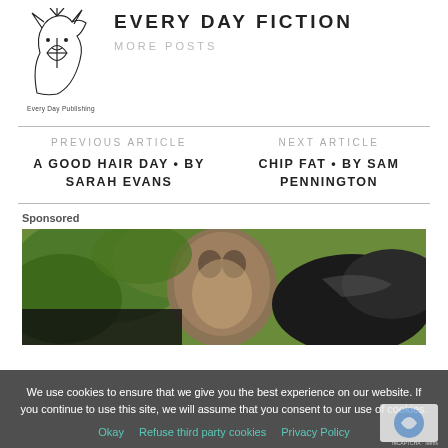[Figure (logo): Every Day Publishing logo — stylized fox/wolf head with leaf, line art, with text 'Every Day Publishing' below]
EVERY DAY FICTION
MORE POSTS
PREVIOUS ARTICLE
A GOOD HAIR DAY • BY SARAH EVANS
NEXT ARTICLE
CHIP FAT • BY SAM PENNINGTON
Sponsored
[Figure (photo): Photo of an owl and a dark animal (possibly a boar or bear) outdoors among green foliage]
We use cookies to ensure that we give you the best experience on our website. If you continue to use this site, we will assume that you consent to our use of cookies.
Okay   Refuse third party cookies   Privacy Policy